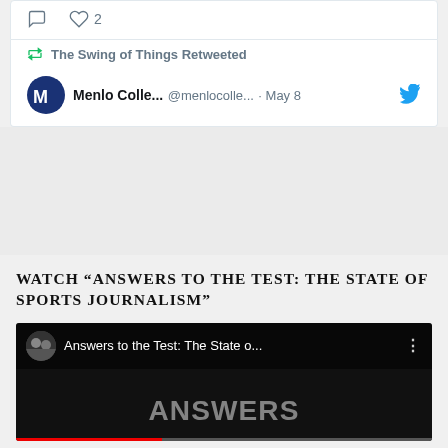[Figure (screenshot): Twitter tweet action icons: comment and heart with count of 2]
The Swing of Things Retweeted
Menlo Colle... @menlocolle... · May 8
WATCH "ANSWERS TO THE TEST: THE STATE OF SPORTS JOURNALISM"
[Figure (screenshot): YouTube video thumbnail for 'Answers to the Test: The State o...' showing the word ANSWERS in large letters on a dark background]